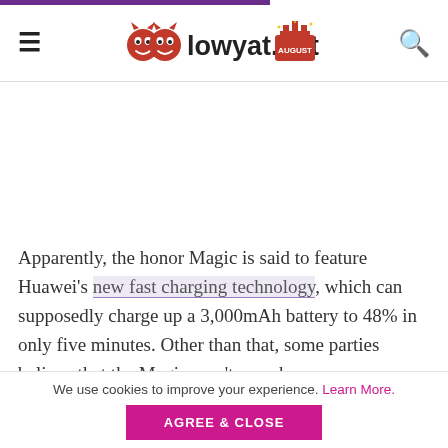lowyat.net
[Figure (other): Advertisement placeholder area (blank white space)]
Apparently, the honor Magic is said to feature Huawei's new fast charging technology, which can supposedly charge up a 3,000mAh battery to 48% in only five minutes. Other than that, some parties believe that the Magic won't even have a camera sensor or a speaker; modules will be used in place of these hardware instead, which sounds...
We use cookies to improve your experience. Learn More.
AGREE & CLOSE